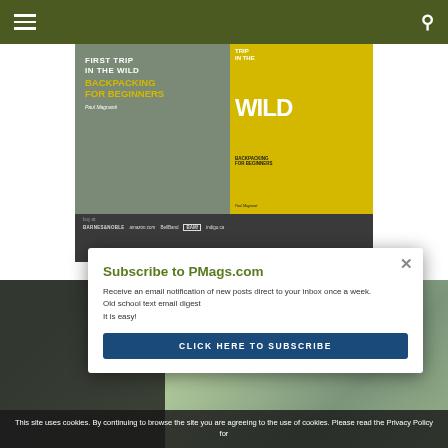Navigation bar with hamburger menu and search icon
[Figure (photo): Book advertisement banner for 'Backpacking for Beginners - First Trip in the Wild' by Paul Magnanti, showing book cover with gray and yellow design. Buy links shown for Barnes & Noble, amazon.com, BellBand, BAM!, and indigo.ca]
[Figure (photo): Background outdoor/map photo partially visible behind the subscribe popup]
Subscribe to PMags.com
Receive an email notification of new posts direct to your inbox once a week.
Old school text email digest
It is easy!
CLICK HERE TO SUBSCRIBE
This site uses cookies. By continuing to browse the site you are agreeing to the use of cookies. Please read the Privacy Policy for